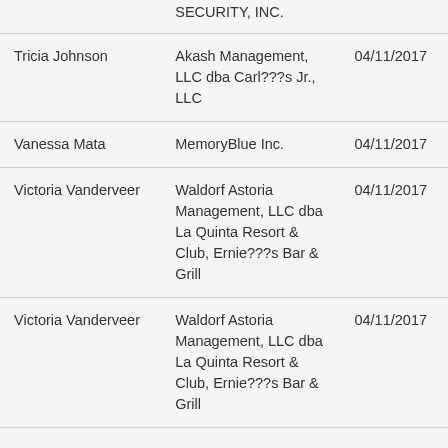|  | SECURITY, INC. |  |
| Tricia Johnson | Akash Management, LLC dba Carl???s Jr., LLC | 04/11/2017 |
| Vanessa Mata | MemoryBlue Inc. | 04/11/2017 |
| Victoria Vanderveer | Waldorf Astoria Management, LLC dba La Quinta Resort & Club, Ernie???s Bar & Grill | 04/11/2017 |
| Victoria Vanderveer | Waldorf Astoria Management, LLC dba La Quinta Resort & Club, Ernie???s Bar & Grill | 04/11/2017 |